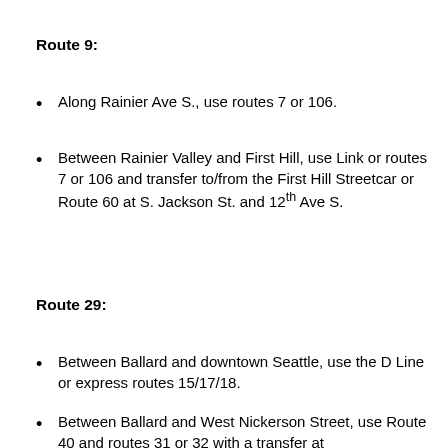Route 9:
Along Rainier Ave S., use routes 7 or 106.
Between Rainier Valley and First Hill, use Link or routes 7 or 106 and transfer to/from the First Hill Streetcar or Route 60 at S. Jackson St. and 12th Ave S.
Route 29:
Between Ballard and downtown Seattle, use the D Line or express routes 15/17/18.
Between Ballard and West Nickerson Street, use Route 40 and routes 31 or 32 with a transfer at